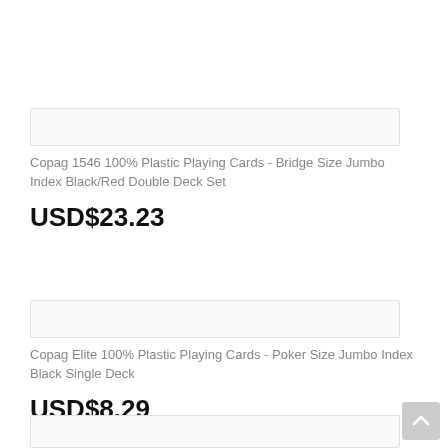[Figure (other): Product image placeholder box for Copag 1546 playing cards]
Copag 1546 100% Plastic Playing Cards - Bridge Size Jumbo Index Black/Red Double Deck Set
USD$23.23
[Figure (other): Product image placeholder box for Copag Elite playing cards]
Copag Elite 100% Plastic Playing Cards - Poker Size Jumbo Index Black Single Deck
USD$8.29
[Figure (other): Product image placeholder box for third product (partially visible)]